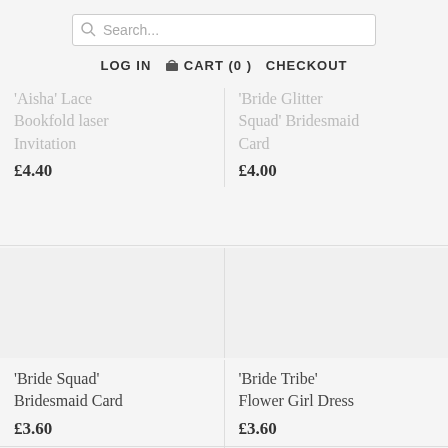[Figure (screenshot): Search bar input with magnifying glass icon and placeholder text 'Search...']
LOG IN  CART (0)  CHECKOUT
'Aisha' Lace Bookfold laser Invitation
£4.40
'Bride Glitter Squad' Bridesmaid Card
£4.00
'Bride Squad' Bridesmaid Card
£3.60
'Bride Tribe' Flower Girl Dress
£3.60